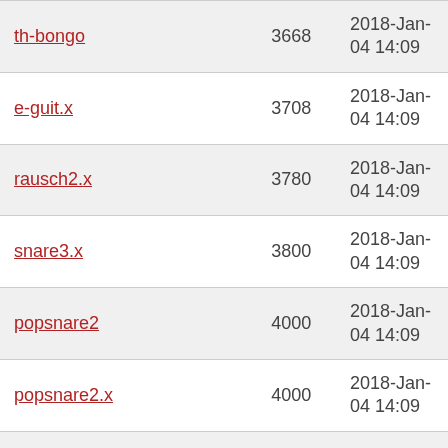| th-bongo | 3668 | 2018-Jan-04 14:09 |
| e-guit.x | 3708 | 2018-Jan-04 14:09 |
| rausch2.x | 3780 | 2018-Jan-04 14:09 |
| snare3.x | 3800 | 2018-Jan-04 14:09 |
| popsnare2 | 4000 | 2018-Jan-04 14:09 |
| popsnare2.x | 4000 | 2018-Jan-04 14:09 |
| u-bass.x | 4080 | 2018-Jan-04 14:09 |
| 6.x | 4276 | 2018-Jan-04 14:09 |
| b4.x | 4316 | 2018-Jan-04 14:09 |
| bass5 | 4480 | 2018-Jan-04 14:09 |
| drum.x | 4564 | 2018-Jan-04 14:09 |